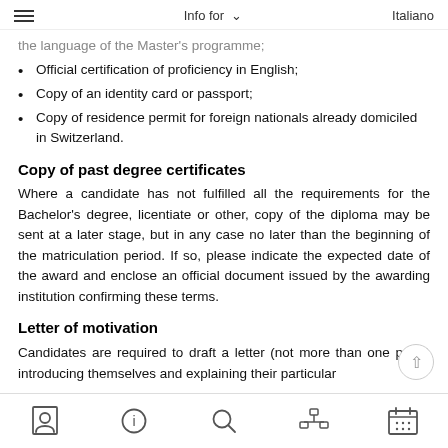Info for   Italiano
the language of the Master's programme;
Official certification of proficiency in English;
Copy of an identity card or passport;
Copy of residence permit for foreign nationals already domiciled in Switzerland.
Copy of past degree certificates
Where a candidate has not fulfilled all the requirements for the Bachelor's degree, licentiate or other, copy of the diploma may be sent at a later stage, but in any case no later than the beginning of the matriculation period. If so, please indicate the expected date of the award and enclose an official document issued by the awarding institution confirming these terms.
Letter of motivation
Candidates are required to draft a letter (not more than one page) introducing themselves and explaining their particular